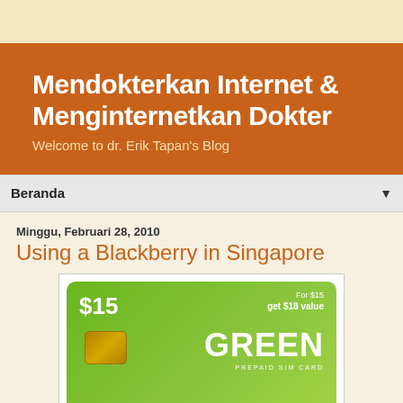Mendokterkan Internet & Menginternetkan Dokter
Welcome to dr. Erik Tapan's Blog
Beranda
Minggu, Februari 28, 2010
Using a Blackberry in Singapore
[Figure (photo): Green SIM card showing $15 prepaid card with 'For $15 get $18 value' offer, GREEN PREPAID SIM card branding]
One complaint of the BlackBerry's user when he/she is outside the country (in this case, outside of Indonesia) is the roaming charges are quite expensive. Therefore, he/she is